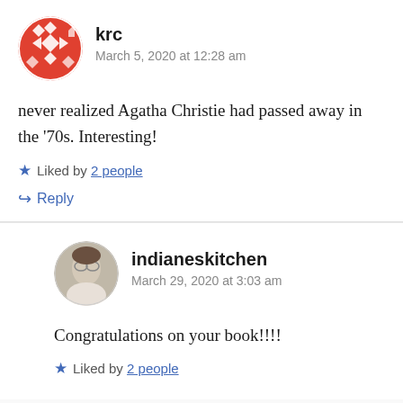[Figure (photo): Avatar icon for user krc — red geometric diamond pattern on white circle background]
krc
March 5, 2020 at 12:28 am
never realized Agatha Christie had passed away in the ’70s. Interesting!
★ Liked by 2 people
↪ Reply
[Figure (photo): Avatar photo of a woman with glasses, circular crop]
indianeskitchen
March 29, 2020 at 3:03 am
Congratulations on your book!!!!
★ Liked by 2 people